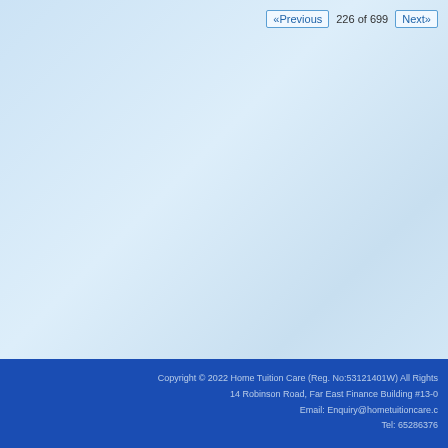«Previous  226 of 699  Next»
Copyright © 2022 Home Tuition Care (Reg. No:53121401W) All Rights
14 Robinson Road, Far East Finance Building #13-0
Email: Enquiry@hometuitioncare.c
Tel: 65286376